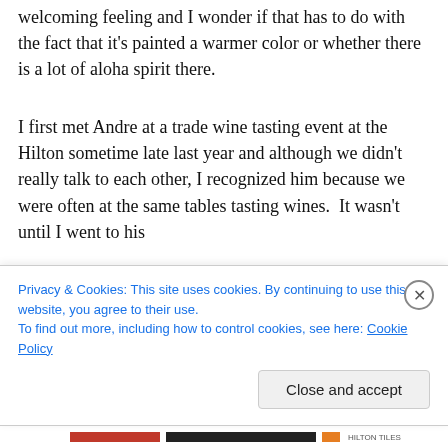welcoming feeling and I wonder if that has to do with the fact that it's painted a warmer color or whether there is a lot of aloha spirit there.
I first met Andre at a trade wine tasting event at the Hilton sometime late last year and although we didn't really talk to each other, I recognized him because we were often at the same tables tasting wines.  It wasn't until I went to his shop that I realized that he was the owner. I knew I'd like
Privacy & Cookies: This site uses cookies. By continuing to use this website, you agree to their use.
To find out more, including how to control cookies, see here: Cookie Policy
Close and accept